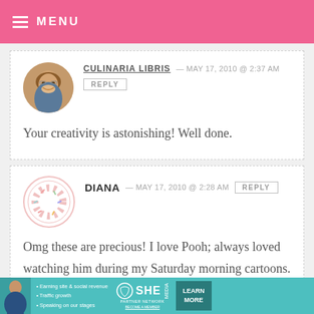MENU
CULINARIA LIBRIS — MAY 17, 2010 @ 2:37 AM
REPLY
Your creativity is astonishing! Well done.
DIANA — MAY 17, 2010 @ 2:28 AM REPLY
Omg these are precious! I love Pooh; always loved watching him during my Saturday morning cartoons. :3
[Figure (infographic): SHE Partner Network advertisement banner with woman photo, bullet points about earning site & social revenue, traffic growth, speaking on stages, SHE logo, and LEARN MORE button]